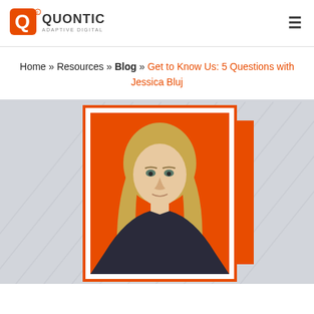[Figure (logo): Quontic Adaptive Digital Bank logo — orange Q icon with registered trademark symbol, QUONTIC in dark text, ADAPTIVE DIGITAL BANK subtitle]
Home » Resources » Blog » Get to Know Us: 5 Questions with Jessica Bluj
[Figure (photo): Professional headshot of Jessica Bluj — woman with blonde hair, wearing dark top, posed against an orange background with white border frame, displayed on a light grey background with subtle diagonal pattern]